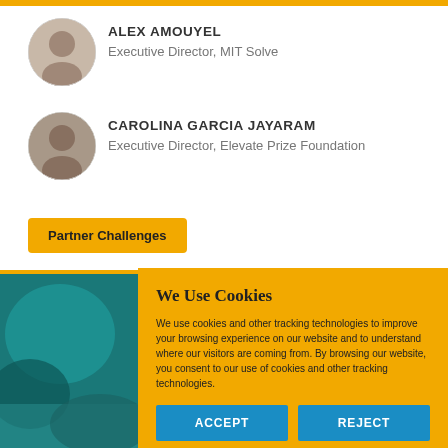[Figure (photo): Profile photo of Alex Amouyel, a woman with long hair]
ALEX AMOUYEL
Executive Director, MIT Solve
[Figure (photo): Profile photo of Carolina Garcia Jayaram, a woman with dark hair]
CAROLINA GARCIA JAYARAM
Executive Director, Elevate Prize Foundation
Partner Challenges
[Figure (photo): Teal/blue background photo partially visible behind cookie banner]
We Use Cookies
We use cookies and other tracking technologies to improve your browsing experience on our website and to understand where our visitors are coming from. By browsing our website, you consent to our use of cookies and other tracking technologies.
ACCEPT
REJECT